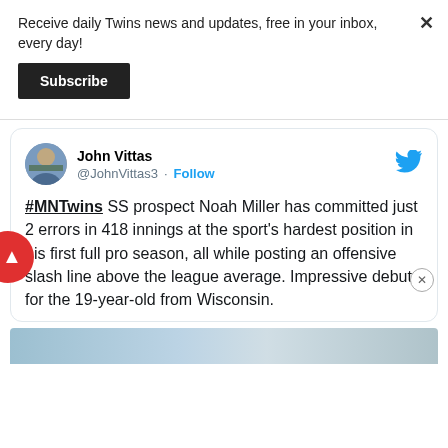Receive daily Twins news and updates, free in your inbox, every day!
Subscribe
John Vittas @JohnVittas3 · Follow
#MNTwins SS prospect Noah Miller has committed just 2 errors in 418 innings at the sport's hardest position in his first full pro season, all while posting an offensive slash line above the league average. Impressive debut for the 19-year-old from Wisconsin.
[Figure (screenshot): Bottom portion of a sports-related image, partially visible at page bottom]